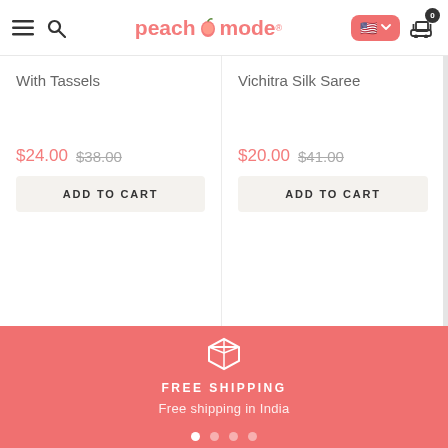peachmode — hamburger menu, search, flag/currency selector, cart (0 items)
With Tassels
$24.00  $38.00
ADD TO CART
Vichitra Silk Saree
$20.00  $41.00
ADD TO CART
FREE SHIPPING
Free shipping in India
• • • •